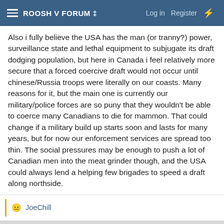ROOSH V FORUM ‡  Log in  Register
Also i fully believe the USA has the man (or tranny?) power, surveillance state and lethal equipment to subjugate its draft dodging population, but here in Canada i feel relatively more secure that a forced coercive draft would not occur until chinese/Russia troops were literally on our coasts. Many reasons for it, but the main one is currently our military/police forces are so puny that they wouldn't be able to coerce many Canadians to die for mammon. That could change if a military build up starts soon and lasts for many years, but for now our enforcement services are spread too thin. The social pressures may be enough to push a lot of Canadian men into the meat grinder though, and the USA could always lend a helping few brigades to speed a draft along northside.
😐 JoeChill
Max Roscoe
Ostrich  Orthodox Inquirer